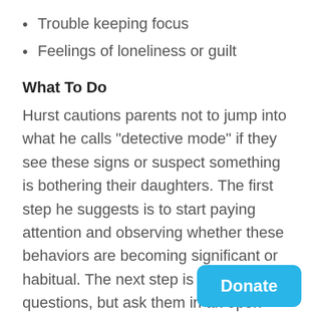Trouble keeping focus
Feelings of loneliness or guilt
What To Do
Hurst cautions parents not to jump into what he calls “detective mode” if they see these signs or suspect something is bothering their daughters. The first step he suggests is to start paying attention and observing whether these behaviors are becoming significant or habitual. The next step is to ask questions, but ask them in an open ended format and be patient. He cautions that parents probably won’t get an answer on the first try.
“Stay calm and let them open up in their own